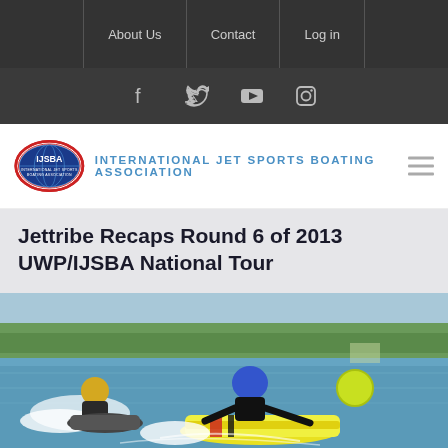About Us | Contact | Log in
[Figure (logo): Social media icons: Facebook, Twitter, YouTube, Instagram on dark background]
[Figure (logo): IJSBA logo - oval emblem with globe and jet ski, next to text INTERNATIONAL JET SPORTS BOATING ASSOCIATION in blue]
Jettribe Recaps Round 6 of 2013 UWP/IJSBA National Tour
[Figure (photo): Two jet ski racers on water, one on a yellow and white personal watercraft leaning into a turn near a yellow buoy, the other rider visible in the background on the left. Trees visible in background across the water.]